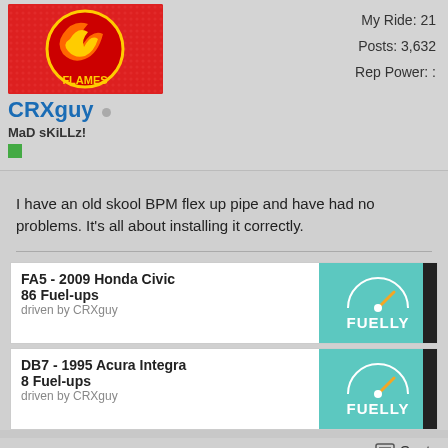[Figure (photo): Calgary Flames hockey team logo avatar for user CRXguy]
CRXguy
My Ride: 21
Posts: 3,632
Rep Power: :
MaD sKiLLz!
I have an old skool BPM flex up pipe and have had no problems. It's all about installing it correctly.
[Figure (infographic): Fuelly widget showing FA5 - 2009 Honda Civic, 86 Fuel-ups, driven by CRXguy]
[Figure (infographic): Fuelly widget showing DB7 - 1995 Acura Integra, 8 Fuel-ups, driven by CRXguy]
Quote
03-24-2006, 06:26 PM
#8
Sacred
Join Date: Se
Location: Ed